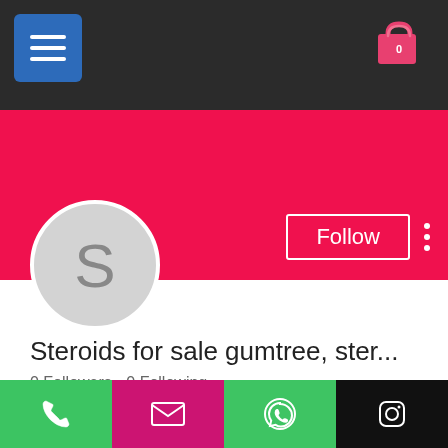[Figure (screenshot): Mobile app profile page screenshot showing a hamburger menu button, shopping cart icon, red banner with Follow button, circular avatar with letter S, username 'Steroids for sale gumtree, ster...', follower stats, dropdown row, Profile section header, and bottom navigation bar with phone, email, WhatsApp, and Instagram icons.]
Steroids for sale gumtree, ster...
0 Followers • 0 Following
Profile